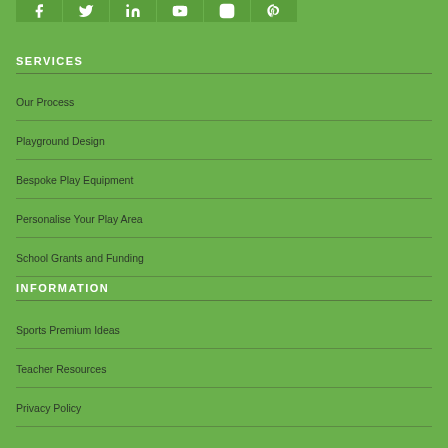[Figure (other): Social media icon buttons row: Facebook, Twitter, LinkedIn, YouTube/video, Instagram, Pinterest]
SERVICES
Our Process
Playground Design
Bespoke Play Equipment
Personalise Your Play Area
School Grants and Funding
INFORMATION
Sports Premium Ideas
Teacher Resources
Privacy Policy